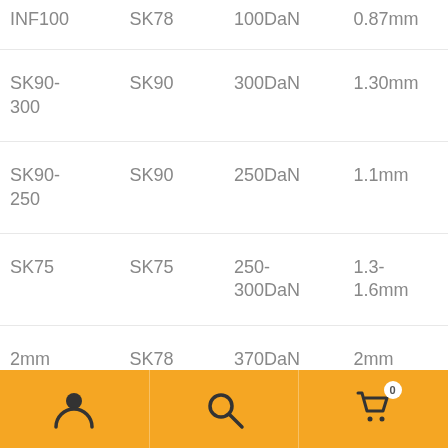| Product | Type | Load | Diameter |
| --- | --- | --- | --- |
| INF100 | SK78 | 100DaN | 0.87mm |
| SK90-300 | SK90 | 300DaN | 1.30mm |
| SK90-250 | SK90 | 250DaN | 1.1mm |
| SK75 | SK75 | 250-300DaN | 1.3-1.6mm |
| 2mm | SK78 | 370DaN | 2mm |